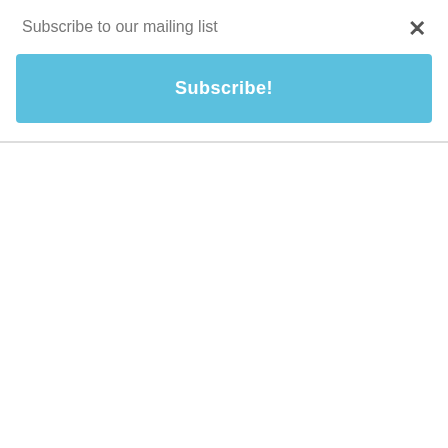Subscribe to our mailing list
Subscribe!
could be good enough to get into heaven he was explaining how holy an awesome God is and how there is nothing we can do to save ourselves that we must rest soley on the work of Jesus Christ what he was going to do for us to down the cross and be the atoning sacrifice for all of our sinfulness all the things that we did whether in attitude whether in thought or whether an action he was going to erase the guilt. Of our sin of our shame of our pain. And he was going to do that simply by letting you and I trust in him personally as Savior and Lord and Matthew chapter five Verse one we see it says that when he saw the crowds he went up on the mountain and after he sat down his disciples came to him and then he began